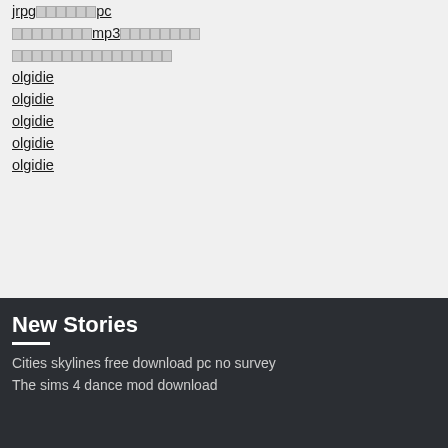jrpg□□□□□□pc
□□□□□□□□mp3□□□□□□□□
□□□□□□□□□□□□□□□□
olgidie
olgidie
olgidie
olgidie
olgidie
New Stories
Cities skylines free download pc no survey
The sims 4 dance mod download